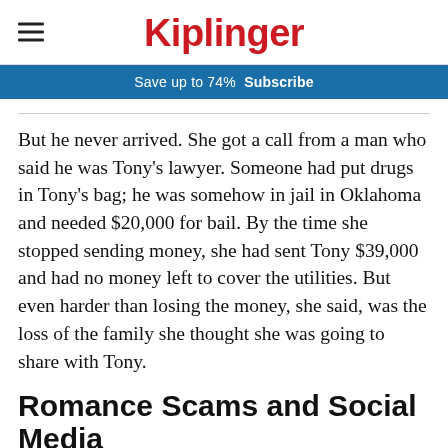Kiplinger
Save up to 74%  Subscribe
But he never arrived. She got a call from a man who said he was Tony's lawyer. Someone had put drugs in Tony's bag; he was somehow in jail in Oklahoma and needed $20,000 for bail. By the time she stopped sending money, she had sent Tony $39,000 and had no money left to cover the utilities. But even harder than losing the money, she said, was the loss of the family she thought she was going to share with Tony.
Romance Scams and Social Media